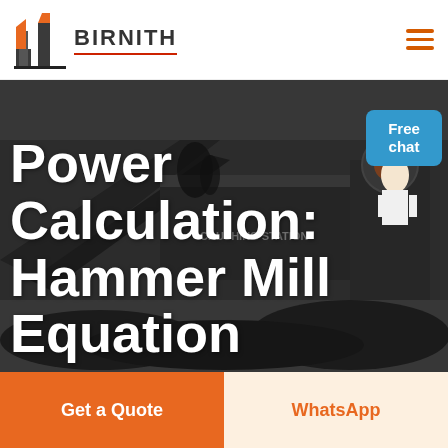BIRNITH
[Figure (photo): Industrial crushing station machinery with dark monochrome background showing heavy equipment and coal]
Power Calculation: Hammer Mill Equation
Free chat
Get a Quote
WhatsApp